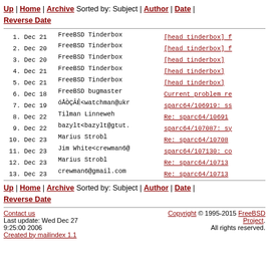Up | Home | Archive Sorted by: Subject | Author | Date | Reverse Date
1. Dec 21 FreeBSD Tinderbox [head tinderbox] f
2. Dec 20 FreeBSD Tinderbox [head tinderbox] f
3. Dec 20 FreeBSD Tinderbox [head tinderbox]
4. Dec 21 FreeBSD Tinderbox [head tinderbox]
5. Dec 21 FreeBSD Tinderbox [head tinderbox]
6. Dec 18 FreeBSD bugmaster Current problem re
7. Dec 19 óÅÒÇÂÊ<watchman@ukr sparc64/106919: ss
8. Dec 22 Tilman Linneweh Re: sparc64/10691
9. Dec 22 bazylt<bazylt@gtut. sparc64/107087: sy
10. Dec 23 Marius Strobl Re: sparc64/10708
11. Dec 23 Jim White<crewman6@ sparc64/107130: co
12. Dec 23 Marius Strobl Re: sparc64/10713
13. Dec 23 crewman6@gmail.com Re: sparc64/10713
Up | Home | Archive Sorted by: Subject | Author | Date | Reverse Date
Contact us | Copyright © 1995-2015 FreeBSD Project. All rights reserved. Last update: Wed Dec 27 9:25:00 2006 Created by mailindex 1.1